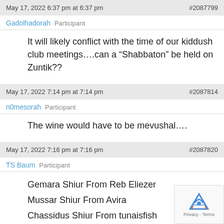May 17, 2022 6:37 pm at 6:37 pm   #2087799
Gadolhadorah   Participant
It will likely conflict with the time of our kiddush club meetings….can a “Shabbaton” be held on Zuntik??
May 17, 2022 7:14 pm at 7:14 pm   #2087814
n0mesorah   Participant
The wine would have to be mevushal….
May 17, 2022 7:16 pm at 7:16 pm   #2087820
TS Baum   Participant
Gemara Shiur From Reb Eliezer
Mussar Shiur From Avira
Chasidus Shiur From tunaisfish